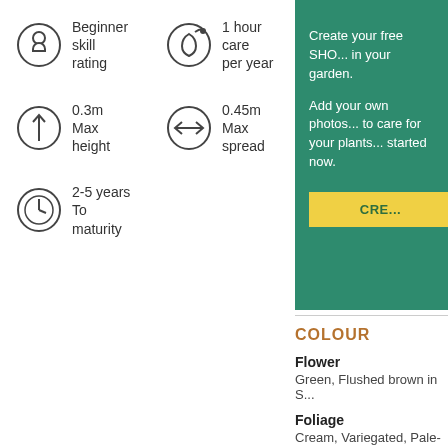Beginner skill rating
1 hour care per year
0.3m Max height
0.45m Max spread
2-5 years To maturity
Create your free SHO... in your garden.

Add your own photos... to care for your plants... started now.
CRE...
COLOUR
Flower
Green, Flushed brown in S...
Foliage
Cream, Variegated, Pale-g...
HOW TO CARE
Watch out for
Specific pests